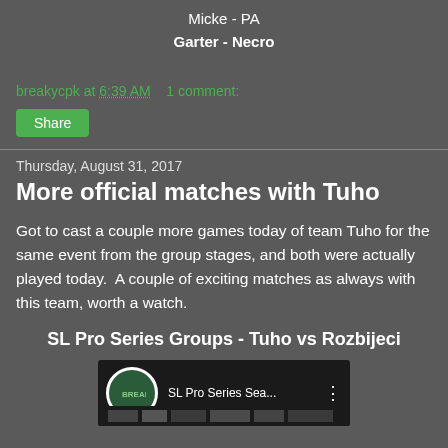Micke - PA
Garter - Necro
breakycpk at 6:39 AM    1 comment:
Share
Thursday, August 31, 2017
More official matches with Tuho
Got to cast a couple more games today of team Tuho for the same event from the group stages, and both were actually played today.  A couple of exciting matches as always with this team, worth a watch.
SL Pro Series Groups - Tuho vs Rozbijeci
[Figure (screenshot): Video thumbnail showing SL Pro Series Sea... with a circular logo on left and three-dot menu on right, dark background]